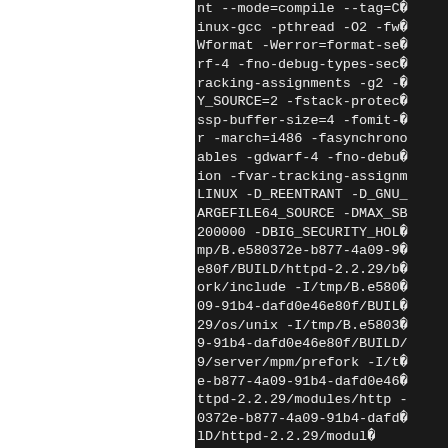nt --mode=compile --tag=CC inux-gcc -pthread -O2 -fwm Wformat -Werror=format-sec rf-4 -fno-debug-types-sect racking-assignments -g2 -W Y_SOURCE=2 -fstack-protect ssp-buffer-size=4 -fomit-f r -march=i486 -fasynchrono ables -gdwarf-4 -fno-debug ion -fvar-tracking-assignm LINUX -D_REENTRANT -D_GNU_ ARGEFILE64_SOURCE -DMAX_SB 200000 -DBIG_SECURITY_HOLE mp/B.e580372e-b877-4a09-91 e80f/BUILD/httpd-2.2.29/bu ork/include -I/tmp/B.e5803 09-91b4-dafd0e46e80f/BUILD 29/os/unix -I/tmp/B.e58037 9-91b4-dafd0e46e80f/BUILD/ 9/server/mpm/prefork -I/tm e-b877-4a09-91b4-dafd0e46e ttpd-2.2.29/modules/http - 0372e-b877-4a09-91b4-dafd0 lD/httpd-2.2.29/modules